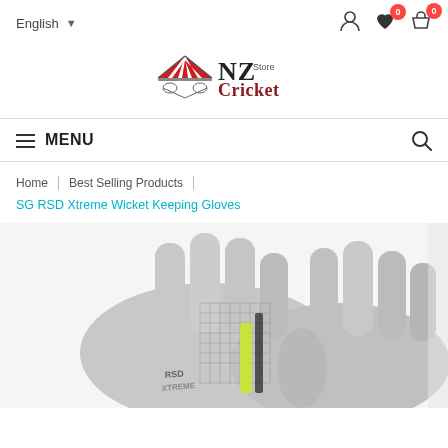English | user icon | wishlist 0 | cart 0
[Figure (logo): NZ Cricket Store logo with tent/awning icon in red and white stripes, NZ in bold serif, Cricket Store in dark red]
MENU (hamburger) | search icon
Home | Best Selling Products
SG RSD Xtreme Wicket Keeping Gloves
[Figure (photo): Close-up photo of SG RSD Xtreme Wicket Keeping Gloves, grey with yellow/green and black accents, fingers visible at top]